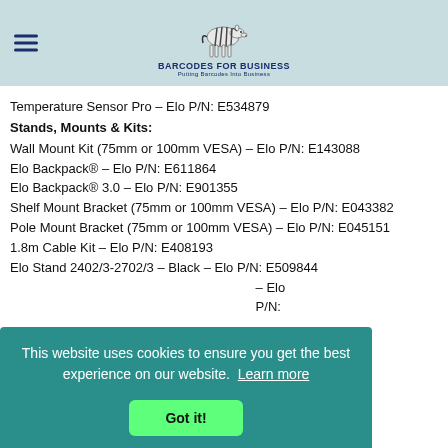[Figure (logo): Barcodes for Business logo with zebra illustration and text 'BARCODES FOR BUSINESS, Putting Barcodes Into Business']
Temperature Sensor Pro – Elo P/N: E534879
Stands, Mounts & Kits:
Wall Mount Kit (75mm or 100mm VESA) – Elo P/N: E143088
Elo Backpack® – Elo P/N: E611864
Elo Backpack® 3.0 – Elo P/N: E901355
Shelf Mount Bracket (75mm or 100mm VESA) – Elo P/N: E043382
Pole Mount Bracket (75mm or 100mm VESA) – Elo P/N: E045151
1.8m Cable Kit – Elo P/N: E408193
Elo Stand 2402/3-2702/3 – Black – Elo P/N: E509844
This website uses cookies to ensure you get the best experience on our website. Learn more
Got it!